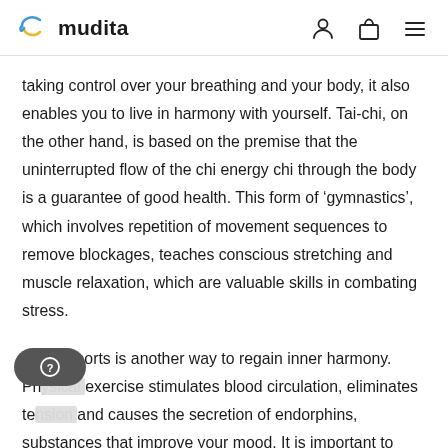mudita
taking control over your breathing and your body, it also enables you to live in harmony with yourself. Tai-chi, on the other hand, is based on the premise that the uninterrupted flow of the chi energy chi through the body is a guarantee of good health. This form of ‘gymnastics’, which involves repetition of movement sequences to remove blockages, teaches conscious stretching and muscle relaxation, which are valuable skills in combating stress.
Doing sports is another way to regain inner harmony. Physical exercise stimulates blood circulation, eliminates tension and causes the secretion of endorphins, substances that improve your mood. It is important to